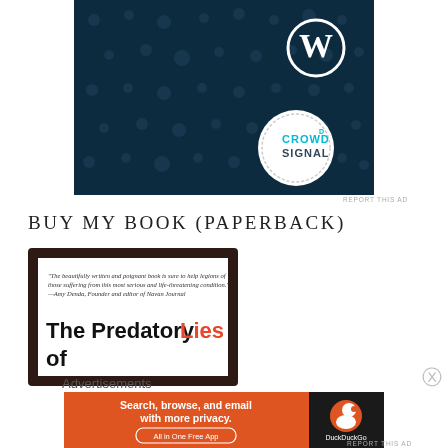[Figure (screenshot): Dark blue banner ad with dot pattern, WordPress logo (W in circle) top right, Crowdsignal circular badge bottom right on dark background]
REPORT THIS AD
BUY MY BOOK (PAPERBACK)
[Figure (photo): Book cover for 'The Predatory Lies of' with quote from Amy Denda, dark brown frame, white inner background]
Advertisements
[Figure (screenshot): DuckDuckGo advertisement: orange section with 'Search, browse, and email with more privacy. All in One Free App' and dark section with DuckDuckGo duck logo]
REPORT THIS AD